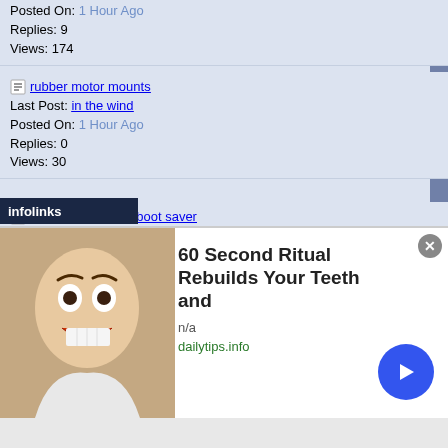Posted On: 1 Hour Ago
Replies: 9
Views: 174
rubber motor mounts
Last Post: in the wind
Posted On: 1 Hour Ago
Replies: 0
Views: 30
exhaust wrap and boot saver
Last Post: in the wind
Posted On: 1 Hour Ago
Replies: 0
Views: 31
circuit diagram comparison
Last Post: IXL2Relax
Posted On: 1 Hour Ago
Replies: 1
Views: 49
Keep & Kill
Last Post: Graywolf
Posted On: 1 Hour Ago
Replies: 30,868
Views: 1,812,217
[Figure (screenshot): Ad overlay: 60 Second Ritual Rebuilds Your Teeth and — dailytips.info, with face photo thumbnail and blue arrow button]